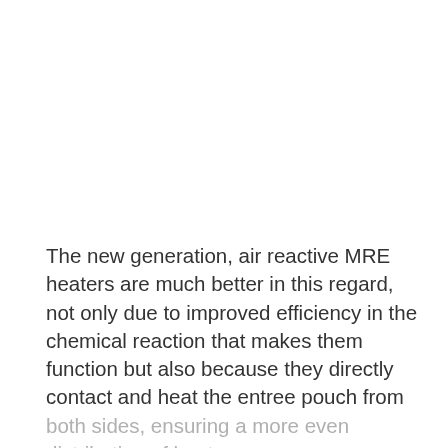The new generation, air reactive MRE heaters are much better in this regard, not only due to improved efficiency in the chemical reaction that makes them function but also because they directly contact and heat the entree pouch from both sides, ensuring a more even distribution of heat energy.